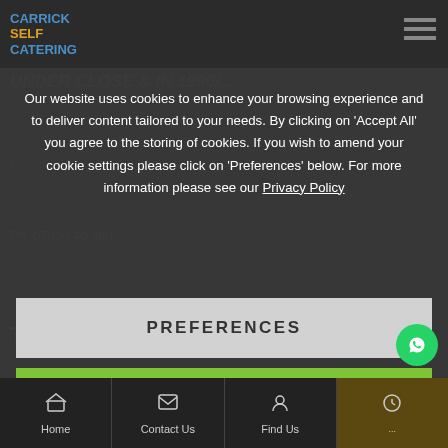Carrick Self Catering
UNDER CLOSE & IN 1990/...
Ph: 07930 40 300
THE SHED DISTILLERY
Our website uses cookies to enhance your browsing experience and to deliver content tailored to your needs. By clicking on 'Accept All' you agree to the storing of cookies. If you wish to amend your cookie settings please click on 'Preferences' below. For more information please see our Privacy Policy
PREFERENCES
ACCEPT ALL
ireland and the inner sanctum of the Shed Distillery...
Whiskey and other remarkable brands from the curious mind of PJ Rigney.
The Shed Distillery tour brings visitors on the very...
Home | Contact Us | Find Us